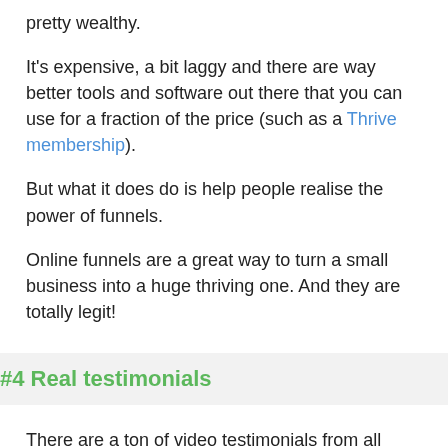pretty wealthy.
It's expensive, a bit laggy and there are way better tools and software out there that you can use for a fraction of the price (such as a Thrive membership).
But what it does do is help people realise the power of funnels.
Online funnels are a great way to turn a small business into a huge thriving one. And they are totally legit!
#4 Real testimonials
There are a ton of video testimonials from all kinds of people, such as this one...